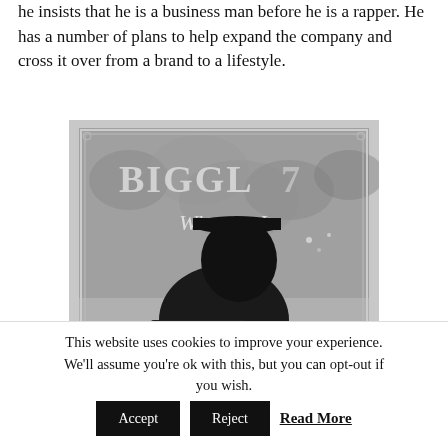he insists that he is a business man before he is a rapper. He has a number of plans to help expand the company and cross it over from a brand to a lifestyle.
[Figure (photo): Black and white photo of a person in profile sitting in front of a glass window with 'BIGGL7 Who Am I' text visible on the glass.]
This website uses cookies to improve your experience. We'll assume you're ok with this, but you can opt-out if you wish. Accept Reject Read More